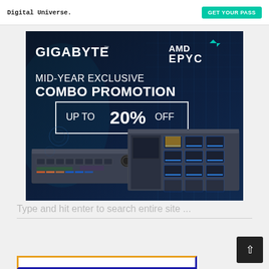Digital Universe.  GET YOUR PASS
[Figure (illustration): Gigabyte and AMD EPYC server promotion advertisement banner. Dark background with server hardware images. Text: GIGABYTE, AMD EPYC, MID-YEAR EXCLUSIVE COMBO PROMOTION, UP TO 20% OFF]
Type and hit enter to search entire site ...
[Figure (illustration): Partial bottom banner with orange-gold top-left border and dark blue bottom-right border]